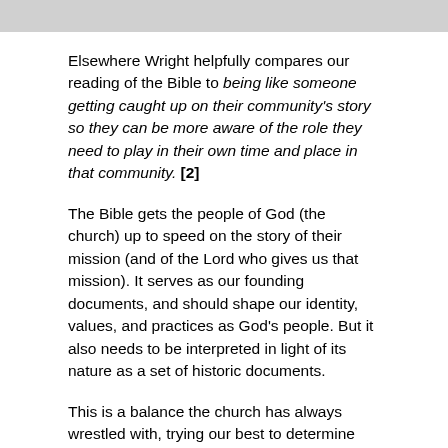Elsewhere Wright helpfully compares our reading of the Bible to being like someone getting caught up on their community's story so they can be more aware of the role they need to play in their own time and place in that community. [2]
The Bible gets the people of God (the church) up to speed on the story of their mission (and of the Lord who gives us that mission). It serves as our founding documents, and should shape our identity, values, and practices as God's people. But it also needs to be interpreted in light of its nature as a set of historic documents.
This is a balance the church has always wrestled with, trying our best to determine just how to read and apply this authoritative story in new and ever-changing contexts. Even the collection of these particular books and their recognition as divinely-inspired Scripture took place over a very long period of time — longer than most Protestant Christians tend to be aware of!
The history of the Bible is the history of the people of God. In a